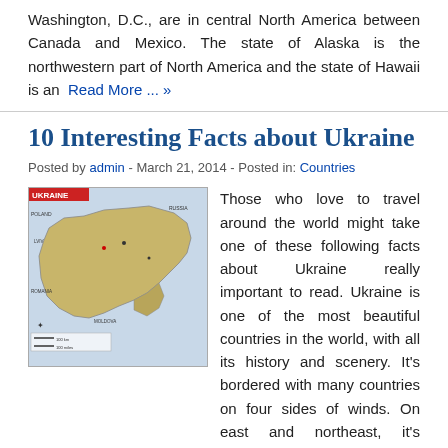Washington, D.C., are in central North America between Canada and Mexico. The state of Alaska is the northwestern part of North America and the state of Hawaii is an  Read More ... »
10 Interesting Facts about Ukraine
Posted by admin - March 21, 2014 - Posted in: Countries
[Figure (map): Map of Ukraine showing borders with neighboring countries including Russia, Belarus, Poland, Slovakia, Hungary, Moldova, and Romania. The map shows major cities and geographical features.]
Those who love to travel around the world might take one of these following facts about Ukraine really important to read. Ukraine is one of the most beautiful countries in the world, with all its history and scenery. It's bordered with many countries on four sides of winds. On east and northeast, it's bordered by Russian Federation; on west and northwest, by Belarus, Poland, Slovakia and Hungary; on the southwest by Moldova; on the south  Read More ... »